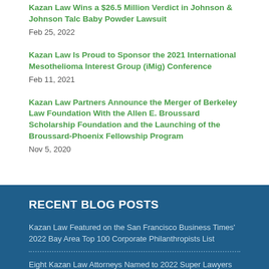Kazan Law Wins a $26.5 Million Verdict in Johnson & Johnson Talc Baby Powder Lawsuit
Feb 25, 2022
Kazan Law Is Proud to Sponsor the 2021 International Mesothelioma Interest Group (iMig) Conference
Feb 11, 2021
Kazan Law Partners Announce the Merger of Berkeley Law Foundation With the Allen E. Broussard Scholarship Foundation and the Launching of the Broussard-Phoenix Fellowship Program
Nov 5, 2020
RECENT BLOG POSTS
Kazan Law Featured on the San Francisco Business Times' 2022 Bay Area Top 100 Corporate Philanthropists List
Eight Kazan Law Attorneys Named to 2022 Super Lawyers and Rising Stars lists